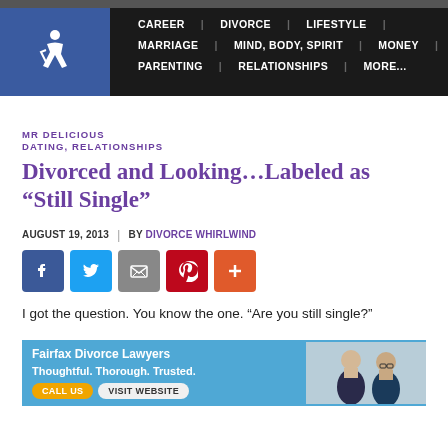CAREER | DIVORCE | LIFESTYLE | MARRIAGE | MIND, BODY, SPIRIT | MONEY | PARENTING | RELATIONSHIPS | MORE...
MR DELICIOUS
DATING, RELATIONSHIPS
Divorced and Looking…Labeled as “Still Single”
AUGUST 19, 2013 | BY DIVORCE WHIRLWIND
[Figure (other): Social share buttons: Facebook, Twitter, Email, Pinterest, Plus]
I got the question. You know the one. “Are you still single?”
[Figure (other): Ad banner: Fairfax Divorce Lawyers. Thoughtful. Thorough. Trusted. CALL US | VISIT WEBSITE. Two professional men in suits.]